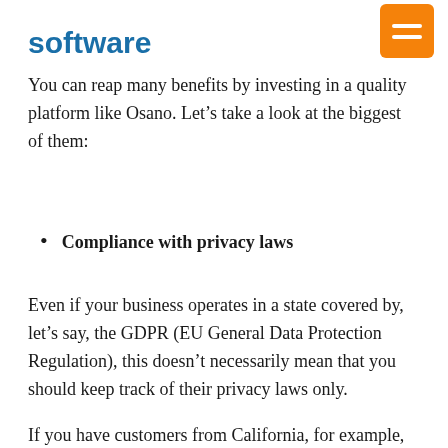software
You can reap many benefits by investing in a quality platform like Osano. Let’s take a look at the biggest of them:
Compliance with privacy laws
Even if your business operates in a state covered by, let’s say, the GDPR (EU General Data Protection Regulation), this doesn’t necessarily mean that you should keep track of their privacy laws only.
If you have customers from California, for example, you